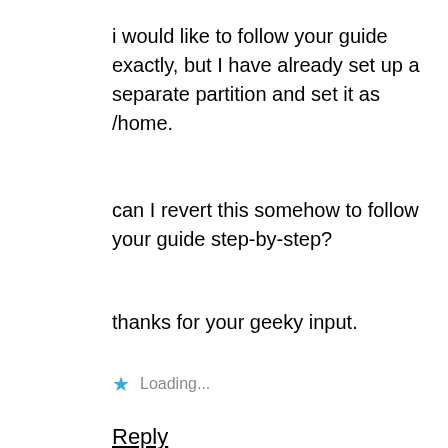i would like to follow your guide exactly, but I have already set up a separate partition and set it as /home.
can I revert this somehow to follow your guide step-by-step?
thanks for your geeky input.
★ Loading...
Reply
[Figure (photo): Small circular avatar photo of a person wearing glasses and a dark jacket, appearing to be a user profile image.]
Pablo